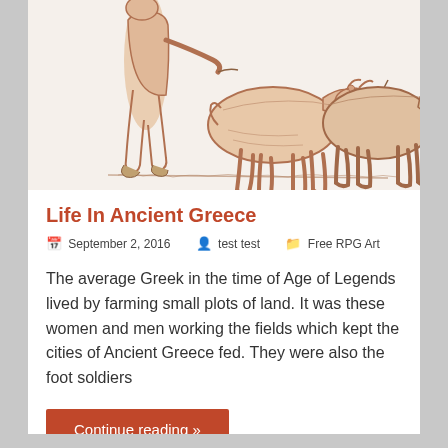[Figure (illustration): Line art illustration of a person leading two cattle/oxen, drawn in a vintage engraving style with reddish-brown tones on a light beige background. The figures are partially cropped at the top.]
Life In Ancient Greece
📅 September 2, 2016   👤 test test   📁 Free RPG Art
The average Greek in the time of Age of Legends lived by farming small plots of land. It was these women and men working the fields which kept the cities of Ancient Greece fed. They were also the foot soldiers
Continue reading »